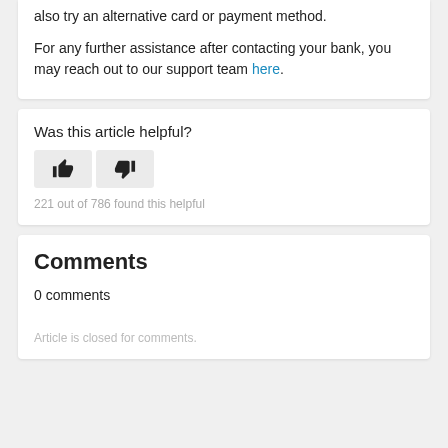also try an alternative card or payment method. For any further assistance after contacting your bank, you may reach out to our support team here.
Was this article helpful?
221 out of 786 found this helpful
Comments
0 comments
Article is closed for comments.